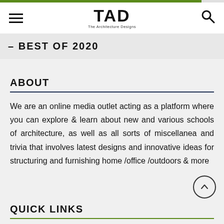TAD - The Architecture Designs
– BEST OF 2020
ABOUT
We are an online media outlet acting as a platform where you can explore & learn about new and various schools of architecture, as well as all sorts of miscellanea and trivia that involves latest designs and innovative ideas for structuring and furnishing home /office /outdoors & more
QUICK LINKS